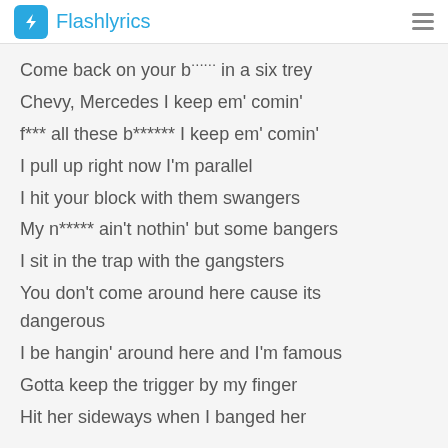Flashlyrics
Come back on your b****** in a six trey
Chevy, Mercedes I keep em' comin'
f*** all these b****** I keep em' comin'
I pull up right now I'm parallel
I hit your block with them swangers
My n***** ain't nothin' but some bangers
I sit in the trap with the gangsters
You don't come around here cause its dangerous
I be hangin' around here and I'm famous
Gotta keep the trigger by my finger
Hit her sideways when I banged her